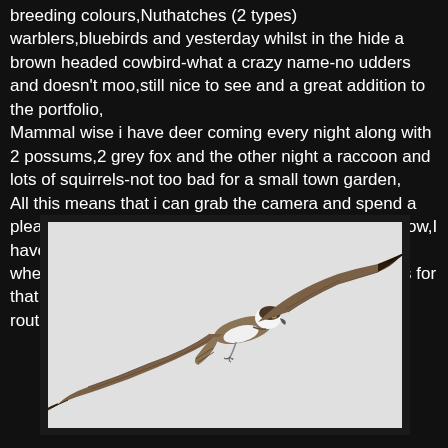breeding colours,Nuthatches (2 types) warblers,bluebirds and yesterday whilst in the hide a brown headed cowbird-what a crazy name-no udders and doesn't moo,still nice to see and a great addition to the portfolio,
Mammal wise i have deer coming every night along with 2 possums,2 grey fox and the other night a raccoon and lots of squirrels-not too bad for a small town garden,
All this means that i can grab the camera and spend a pleasant hour or 2 in the hide when the conditions allow,I haven't tried for the mammals yet as most come out when its dark so will need a couple of extra flashguns for that but will continue to feed them to get them into a routine,
[Figure (photo): A bird of prey (osprey) in flight against a white/light grey background, wings spread wide, photographed from below at an angle. The bird has brown and white plumage.]